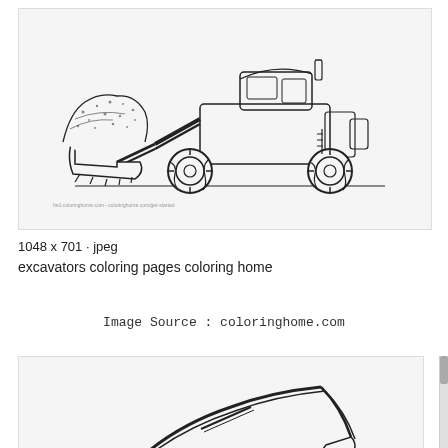[Figure (illustration): Line drawing / coloring page of a front loader / wheel loader construction vehicle carrying a load of dirt/gravel in its bucket, shown in side profile. The vehicle has large knobby tires and a cab on top. Small watermark text at bottom left of image reads 'fre1.coloringhome.com - coloringhome.com/get-started'.]
1048 x 701 · jpeg
excavators coloring pages coloring home
Image Source : coloringhome.com
[Figure (illustration): Partial view of another line drawing / coloring page showing a construction excavator or similar heavy equipment, cropped at bottom of page.]